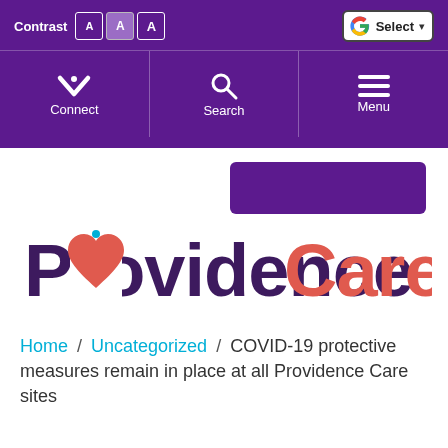Contrast A A A | Google Select | Connect | Search | Menu
[Figure (logo): Providence Care logo with heart symbol in 'o' of Providence in dark purple, and 'Care' in coral/red]
Home / Uncategorized / COVID-19 protective measures remain in place at all Providence Care sites